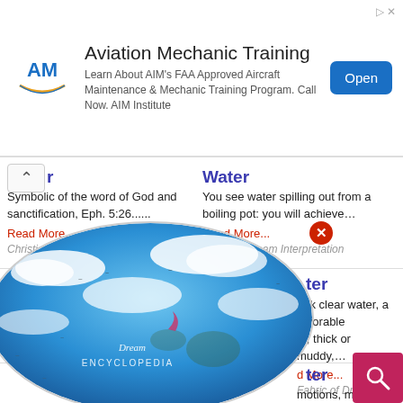[Figure (infographic): Advertisement banner for Aviation Mechanic Training by AIM Institute with logo, description text, and Open button]
Symbolic of the word of God and sanctification, Eph. 5:26......
Read More...
Christian Dream Symbols
Water
You see water spilling out from a boiling pot: you will achieve…
Read More...
Chinese Dream Interpretation
rink clear water, a favorable m; thick or muddy,…
d More...
Fabric of Dream
motions, moods and flow of feeling energy. Because of the
Read More...
Guide to Dreams and Sleep
[Figure (illustration): Dream Encyclopedia globe logo with clouds and birds, overlaid on the page content]